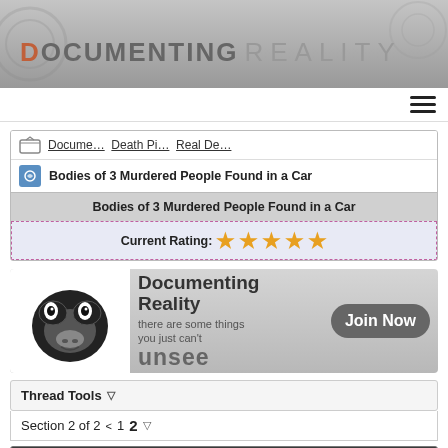DOCUMENTING REALITY
Docume... Death Pi... Real De...
Bodies of 3 Murdered People Found in a Car
Bodies of 3 Murdered People Found in a Car
Current Rating: ★★★★★
[Figure (photo): Documenting Reality advertisement banner showing a monkey face illustration with text 'Documenting Reality there are some things you just can't unsee' and a 'Join Now' button]
Thread Tools ▽
Section 2 of 2  <  1  2  ▽
04-02-2019, 03:20 PM    #11